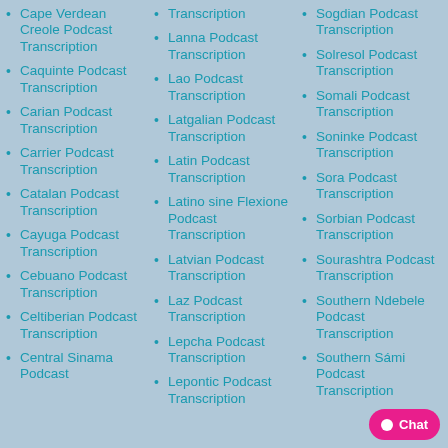Cape Verdean Creole Podcast Transcription
Caquinte Podcast Transcription
Carian Podcast Transcription
Carrier Podcast Transcription
Catalan Podcast Transcription
Cayuga Podcast Transcription
Cebuano Podcast Transcription
Celtiberian Podcast Transcription
Central Sinama Podcast
Transcription
Lanna Podcast Transcription
Lao Podcast Transcription
Latgalian Podcast Transcription
Latin Podcast Transcription
Latino sine Flexione Podcast Transcription
Latvian Podcast Transcription
Laz Podcast Transcription
Lepcha Podcast Transcription
Lepontic Podcast Transcription
Sogdian Podcast Transcription
Solresol Podcast Transcription
Somali Podcast Transcription
Soninke Podcast Transcription
Sora Podcast Transcription
Sorbian Podcast Transcription
Sourashtra Podcast Transcription
Southern Ndebele Podcast Transcription
Southern Sámi Podcast Transcription